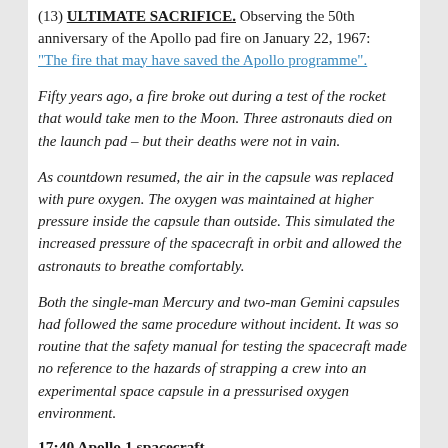(13) ULTIMATE SACRIFICE. Observing the 50th anniversary of the Apollo pad fire on January 22, 1967: "The fire that may have saved the Apollo programme".
Fifty years ago, a fire broke out during a test of the rocket that would take men to the Moon. Three astronauts died on the launch pad – but their deaths were not in vain.
As countdown resumed, the air in the capsule was replaced with pure oxygen. The oxygen was maintained at higher pressure inside the capsule than outside. This simulated the increased pressure of the spacecraft in orbit and allowed the astronauts to breathe comfortably.
Both the single-man Mercury and two-man Gemini capsules had followed the same procedure without incident. It was so routine that the safety manual for testing the spacecraft made no reference to the hazards of strapping a crew into an experimental space capsule in a pressurised oxygen environment.
17:40  Apollo 1 spacecraft